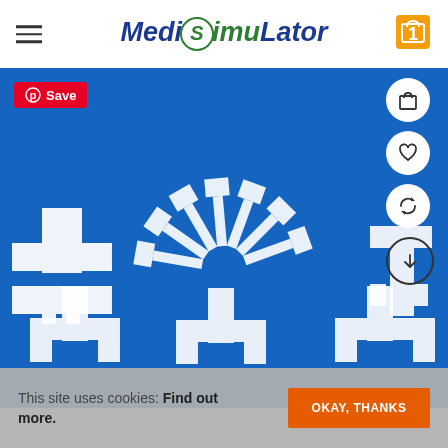MediSimuLator
[Figure (photo): White foam/plastic letter T-shaped pieces arranged in a fan/circular pattern on a blue background, used for medical simulation training. A Pinterest 'Save' button overlay is visible along with shopping cart, wishlist, share, and scroll-down action buttons.]
This site uses cookies: Find out more.
OKAY, THANKS